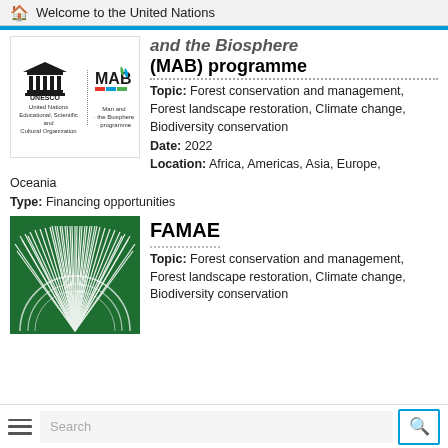Welcome to the United Nations
and the Biosphere (MAB) programme
Topic: Forest conservation and management, Forest landscape restoration, Climate change, Biodiversity conservation Date: 2022 Location: Africa, Americas, Asia, Europe, Oceania
Type: Financing opportunities
[Figure (logo): UNESCO and Man and the Biosphere (MAB) programme logos side by side]
FAMAE
Topic: Forest conservation and management, Forest landscape restoration, Climate change, Biodiversity conservation
[Figure (logo): FAMAE green logo with white fan/leaf design on dark green background]